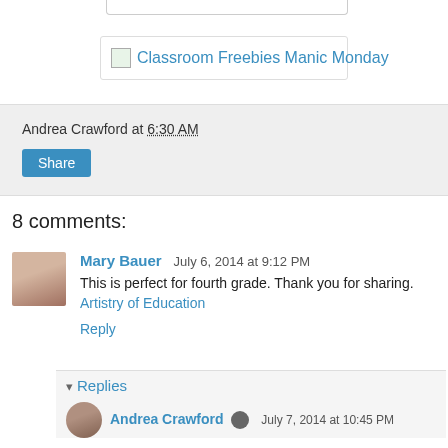[Figure (screenshot): Blog post image link showing 'Classroom Freebies Manic Monday' with small image placeholder icon]
Andrea Crawford at 6:30 AM
Share
8 comments:
Mary Bauer  July 6, 2014 at 9:12 PM
This is perfect for fourth grade. Thank you for sharing.
Artistry of Education
Reply
▾ Replies
Andrea Crawford  July 7, 2014 at 10:45 PM